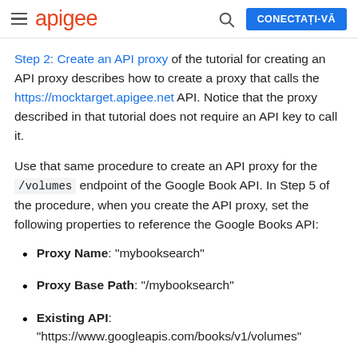apigee | CONECTAȚI-VĂ
Step 2: Create an API proxy of the tutorial for creating an API proxy describes how to create a proxy that calls the https://mocktarget.apigee.net API. Notice that the proxy described in that tutorial does not require an API key to call it.
Use that same procedure to create an API proxy for the /volumes endpoint of the Google Book API. In Step 5 of the procedure, when you create the API proxy, set the following properties to reference the Google Books API:
Proxy Name: "mybooksearch"
Proxy Base Path: "/mybooksearch"
Existing API: "https://www.googleapis.com/books/v1/volumes"
After you create and deploy the proxy you should be able